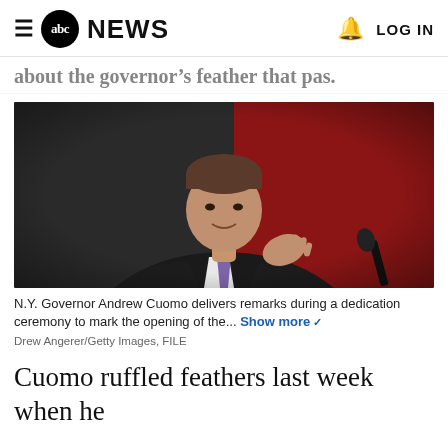≡ abc NEWS   🔔  LOG IN
about the governor's feather that pas.
[Figure (photo): N.Y. Governor Andrew Cuomo speaking at a podium, gesturing with his right hand, wearing a dark suit and purple tie, red background]
N.Y. Governor Andrew Cuomo delivers remarks during a dedication ceremony to mark the opening of the... Show more
Drew Angerer/Getty Images, FILE
Cuomo ruffled feathers last week when he